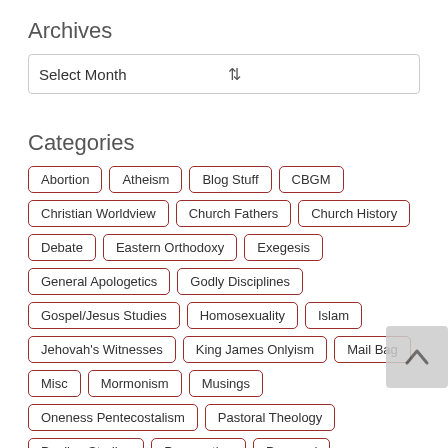Archives
Select Month
Categories
Abortion
Atheism
Blog Stuff
CBGM
Christian Worldview
Church Fathers
Church History
Debate
Eastern Orthodoxy
Exegesis
General Apologetics
Godly Disciplines
Gospel/Jesus Studies
Homosexuality
Islam
Jehovah's Witnesses
King James Onlyism
Mail Bag
Misc
Mormonism
Musings
Oneness Pentecostalism
Pastoral Theology
Pauline Studies
Persecution
Personal
Post-Evangelicalism
Provisionism
Racialism
Radio Free Geneva
Reformed Apologetics